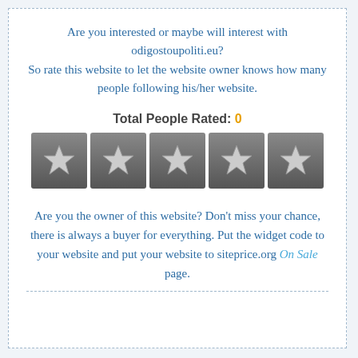Are you interested or maybe will interest with odigostoupoliti.eu? So rate this website to let the website owner knows how many people following his/her website.
Total People Rated: 0
[Figure (other): Five grey star rating boxes in a row, each star rendered as a grey star icon on a dark grey background]
Are you the owner of this website? Don't miss your chance, there is always a buyer for everything. Put the widget code to your website and put your website to siteprice.org On Sale page.